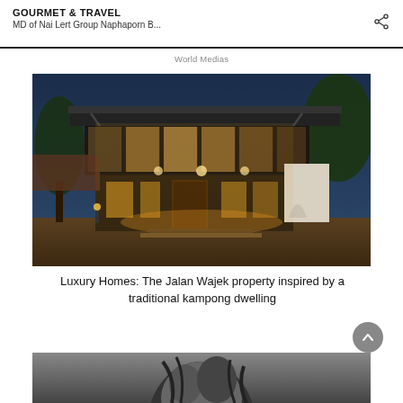GOURMET & TRAVEL
MD of Nai Lert Group Naphaporn B...
World Medias
[Figure (photo): Night photo of a two-storey modern house with glass facades, steel frame, warm interior lighting, and lush trees, inspired by a traditional kampong dwelling]
Luxury Homes: The Jalan Wajek property inspired by a traditional kampong dwelling
[Figure (photo): Black and white photo of a person, partially visible at bottom of page]